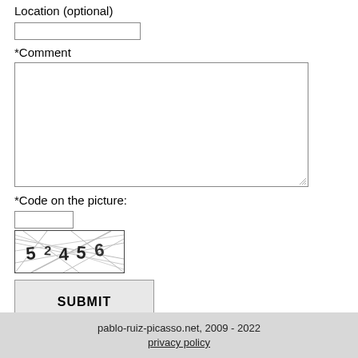Location (optional)
[Figure (other): Text input box for Location (optional)]
*Comment
[Figure (other): Large textarea for Comment input]
*Code on the picture:
[Figure (other): Small text input box for CAPTCHA code]
[Figure (other): CAPTCHA image showing digits 5 2 45 6 with background noise lines]
[Figure (other): SUBMIT button]
pablo-ruiz-picasso.net, 2009 - 2022
privacy policy